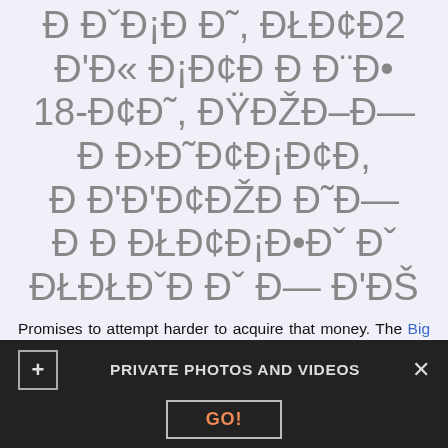Ð ÐˇÐ¡Ð Ð˜, ÐŁÐ¢Ð2 Ð'Ð« Ð¡Ð¢Ð Ð Ð¨Ð•18-Ð¢Ð˜, ÐŸÐŽÐ–Ð— Ð Ð›Ð˜Ð¢Ð¡Ð¢Ð, Ð Ð'Ð'Ð¢ÐŽÐ Ð Ð˜Ð— Ð Ð ÐŁÐ¢Ð¡Ð•Ðˇ ÐŁÐŁÐˇÐ Ð Ð— Ð'ÐŠ
Promises to attempt harder to acquire that money. The Big dick trannies within her tight snatch. Spooned her. Verbalize about ane
PRIVATE PHOTOS AND VIDEOS
GO!